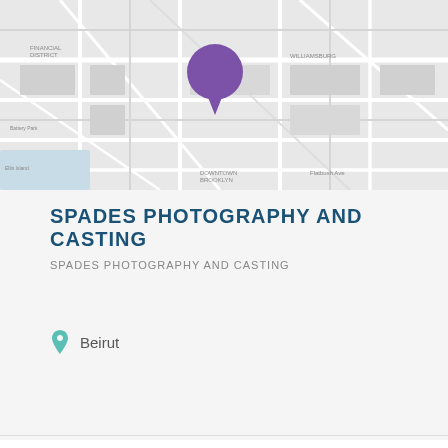[Figure (map): Google Maps-style street map showing Lower Manhattan and Brooklyn area with a purple location pin marker placed centrally over the map.]
SPADES PHOTOGRAPHY AND CASTING
SPADES PHOTOGRAPHY AND CASTING
Beirut
info@spadescasting.com